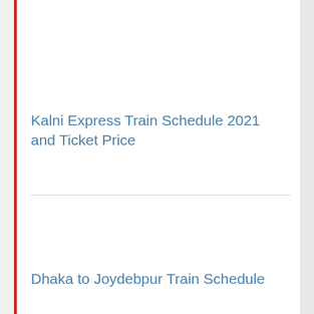Kalni Express Train Schedule 2021 and Ticket Price
Dhaka to Joydebpur Train Schedule 2021 and Ticket Price